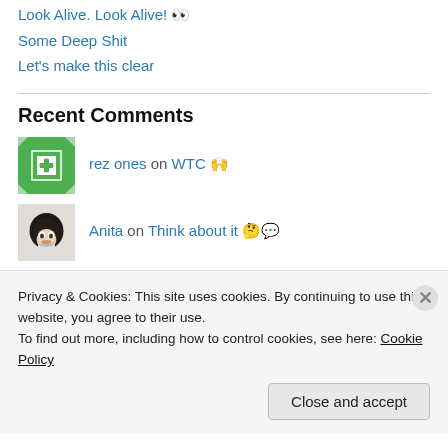Look Alive. Look Alive! 👀
Some Deep Shit
Let's make this clear
Recent Comments
rez ones on WTC 🙌
Anita on Think about it 🤔💬
Sadah on Think about it 🤔💬
Privacy & Cookies: This site uses cookies. By continuing to use this website, you agree to their use.
To find out more, including how to control cookies, see here: Cookie Policy